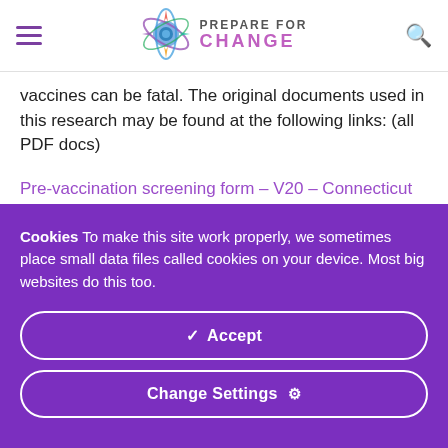PREPARE FOR CHANGE
vaccines can be fatal. The original documents used in this research may be found at the following links: (all PDF docs)
Pre-vaccination screening form – V20 – Connecticut government website
Cookies To make this site work properly, we sometimes place small data files called cookies on your device. Most big websites do this too.
✓ Accept
Change Settings ⚙